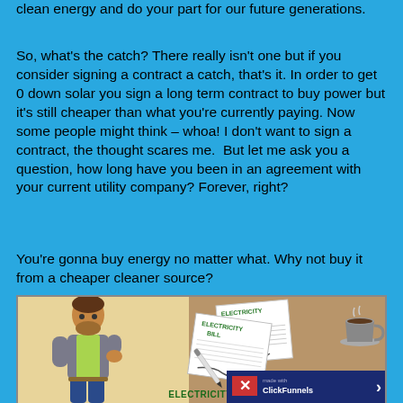clean energy and do your part for our future generations.
So, what's the catch? There really isn't one but if you consider signing a contract a catch, that's it. In order to get 0 down solar you sign a long term contract to buy power but it's still cheaper than what you're currently paying. Now some people might think – whoa! I don't want to sign a contract, the thought scares me.  But let me ask you a question, how long have you been in an agreement with your current utility company? Forever, right?
You're gonna buy energy no matter what. Why not buy it from a cheaper cleaner source?
[Figure (illustration): Illustration showing a man thinking on the left side with a yellow background, and electricity bills with a pen and coffee cup on a brown desk background on the right side. Text at bottom reads ELECTRICITY BILLS.]